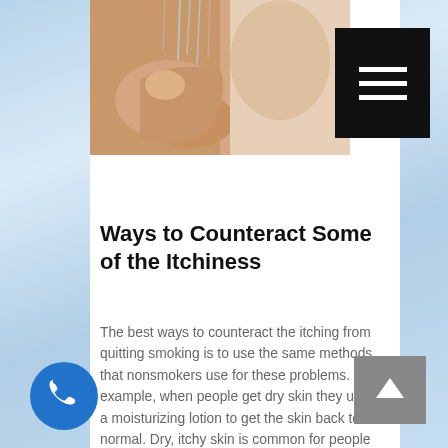[Figure (photo): Person in shower with water running over their hand, skin care / hygiene photo]
[Figure (other): Black hamburger menu button with three white horizontal lines]
Ways to Counteract Some of the Itchiness
The best ways to counteract the itching from quitting smoking is to use the same methods that nonsmokers use for these problems. For example, when people get dry skin they use a moisturizing lotion to get the skin back to normal. Dry, itchy skin is common for people when they quit smoking so finding a really good moisturizing lotion is really going to help. The same goes for an itchy scalp. Try a stronger, moisturizing shampoo to get rid
[Figure (other): Blue circular phone/call button icon]
[Figure (other): Gray square scroll-to-top button with upward arrow]